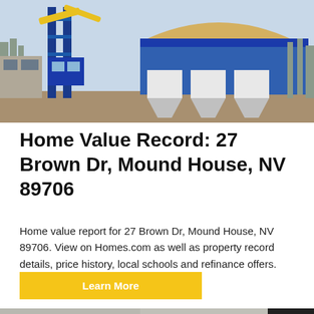[Figure (photo): Industrial concrete batching plant with blue steel structure and yellow conveyor, sand mound visible, outdoor daytime setting.]
Home Value Record: 27 Brown Dr, Mound House, NV 89706
Home value report for 27 Brown Dr, Mound House, NV 89706. View on Homes.com as well as property record details, price history, local schools and refinance offers.
Learn More
[Figure (photo): Industrial drum or tank machinery equipment inside a facility with concrete walls and large windows.]